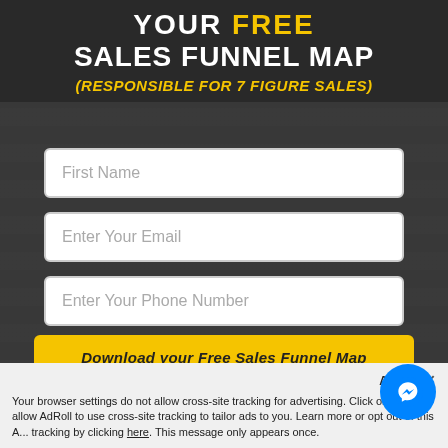YOUR FREE SALES FUNNEL MAP
(RESPONSIBLE FOR 7 FIGURE SALES)
First Name
Enter Your Email
Enter Your Phone Number
Download your Free Sales Funnel Map
Accept
Your browser settings do not allow cross-site tracking for advertising. Click on the ... allow AdRoll to use cross-site tracking to tailor ads to you. Learn more or opt out of this Ad... tracking by clicking here. This message only appears once.